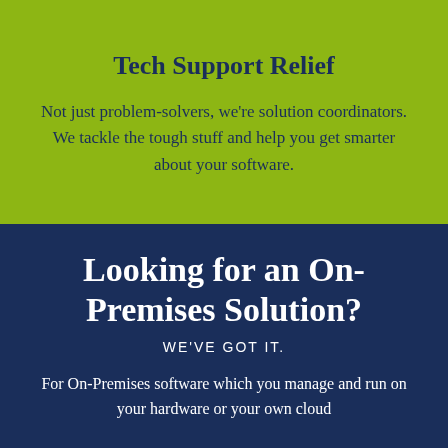Tech Support Relief
Not just problem-solvers, we're solution coordinators. We tackle the tough stuff and help you get smarter about your software.
Looking for an On-Premises Solution?
WE'VE GOT IT.
For On-Premises software which you manage and run on your hardware or your own cloud